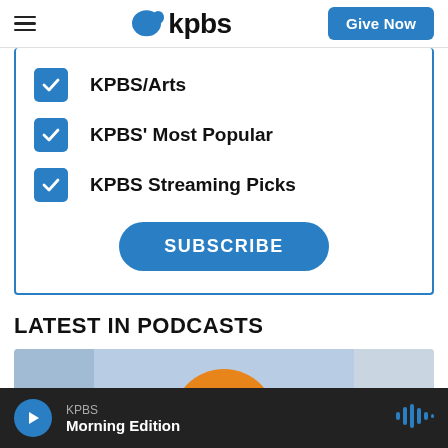kpbs — Give Now
KPBS/Arts
KPBS' Most Popular
KPBS Streaming Picks
SUBSCRIBE
LATEST IN PODCASTS
[Figure (photo): Podcast thumbnail image showing a sunrise with orange sun and blue/grey background]
KPBS — Morning Edition (player bar)